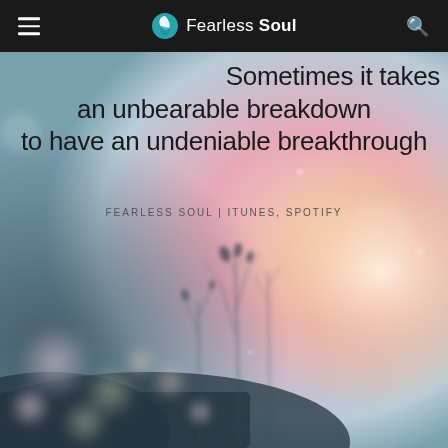Fearless Soul
[Figure (photo): Soft-focus nature background with bokeh light effects, silhouetted grass and plant stems against a warm pink and teal dreamy sky backdrop.]
Sometimes it takes an unbearable breakdown to have an undeniable breakthrough
FEARLESS SOUL | ITUNES, SPOTIFY